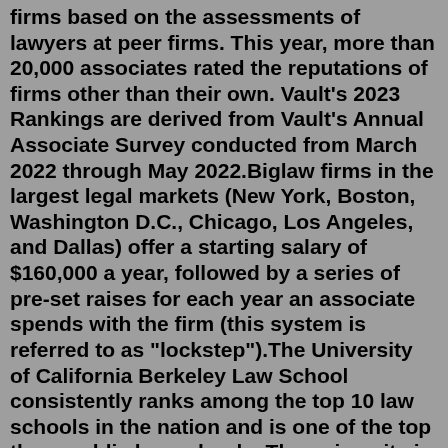firms based on the assessments of lawyers at peer firms. This year, more than 20,000 associates rated the reputations of firms other than their own. Vault's 2023 Rankings are derived from Vault's Annual Associate Survey conducted from March 2022 through May 2022.Biglaw firms in the largest legal markets (New York, Boston, Washington D.C., Chicago, Los Angeles, and Dallas) offer a starting salary of $160,000 a year, followed by a series of pre-set raises for each year an associate spends with the firm (this system is referred to as "lockstep").The University of California Berkeley Law School consistently ranks among the top 10 law schools in the nation and is one of the top three public law schools. The university is renowned for taking an unusual approach to law education. At UC Berkeley Law, there aren't any letter grades, GPAs, or rankings of the students. Oct 26, 2021 · In 2022, the school was ranked 147th to 193rd in the U.S. News and World Report law school rankings. 2. University of South Dakota. Annual tuition: $11,620. The University of